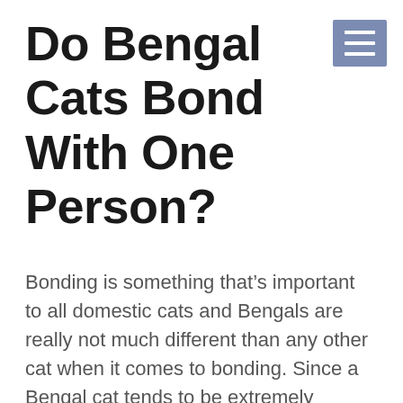Do Bengal Cats Bond With One Person?
[Figure (other): Hamburger menu icon — three horizontal white lines on a blue-grey square background]
Bonding is something that's important to all domestic cats and Bengals are really not much different than any other cat when it comes to bonding. Since a Bengal cat tends to be extremely intelligent and highly active, it might to some seem